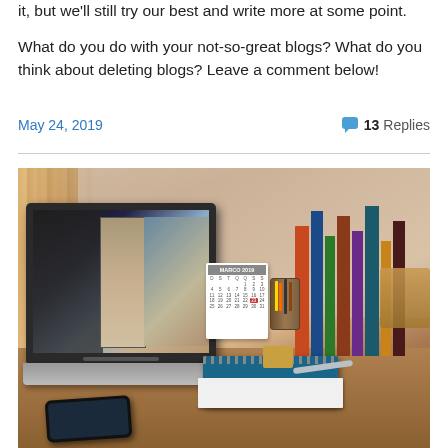it, but we'll still try our best and write more at some point. What do you do with your not-so-great blogs? What do you think about deleting blogs? Leave a comment below!
May 24, 2019
13 Replies
[Figure (photo): A laptop on a wooden desk showing photo editing software, surrounded by books, a calendar, a spiral notebook, a jar with pencils, and a smartphone in the foreground.]